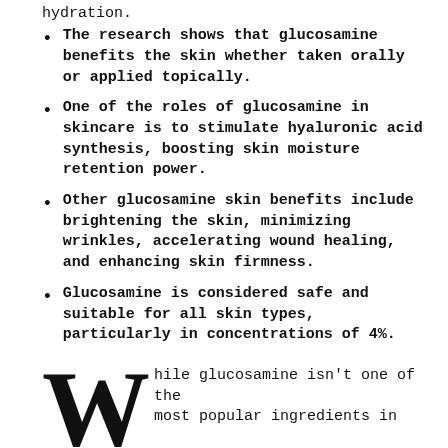hydration.
The research shows that glucosamine benefits the skin whether taken orally or applied topically.
One of the roles of glucosamine in skincare is to stimulate hyaluronic acid synthesis, boosting skin moisture retention power.
Other glucosamine skin benefits include brightening the skin, minimizing wrinkles, accelerating wound healing, and enhancing skin firmness.
Glucosamine is considered safe and suitable for all skin types, particularly in concentrations of 4%.
While glucosamine isn't one of the most popular ingredients in